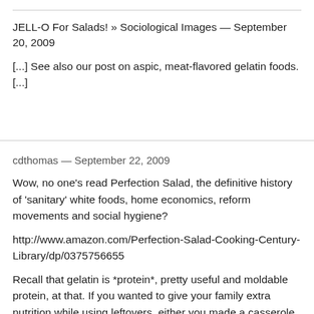JELL-O For Salads! » Sociological Images — September 20, 2009
[...] See also our post on aspic, meat-flavored gelatin foods. [...]
cdthomas — September 22, 2009
Wow, no one's read Perfection Salad, the definitive history of 'sanitary' white foods, home economics, reform movements and social hygiene?
http://www.amazon.com/Perfection-Salad-Cooking-Century-Library/dp/0375756655
Recall that gelatin is *protein*, pretty useful and moldable protein, at that. If you wanted to give your family extra nutrition while using leftovers, either you made a casserole, or salads with meat/cheese bits. Gelatin allowed for art as well as nutrition in a time when people